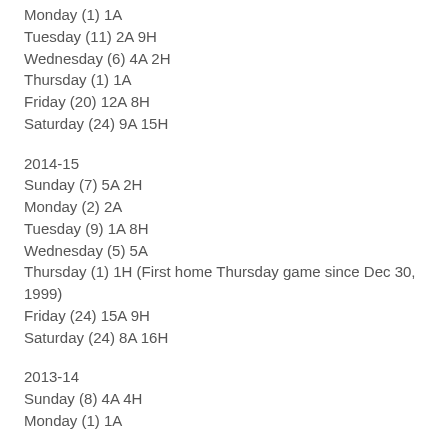Monday (1) 1A
Tuesday (11) 2A 9H
Wednesday (6) 4A 2H
Thursday (1) 1A
Friday (20) 12A 8H
Saturday (24) 9A 15H
2014-15
Sunday (7) 5A 2H
Monday (2) 2A
Tuesday (9) 1A 8H
Wednesday (5) 5A
Thursday (1) 1H (First home Thursday game since Dec 30, 1999)
Friday (24) 15A 9H
Saturday (24) 8A 16H
2013-14
Sunday (8) 4A 4H
Monday (1) 1A